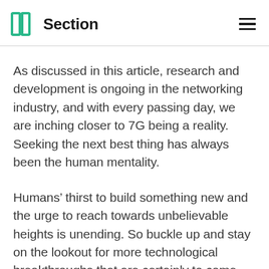Section
As discussed in this article, research and development is ongoing in the networking industry, and with every passing day, we are inching closer to 7G being a reality. Seeking the next best thing has always been the human mentality.
Humans’ thirst to build something new and the urge to reach towards unbelievable heights is unending. So buckle up and stay on the lookout for more technological breakthroughs that are certainly to come